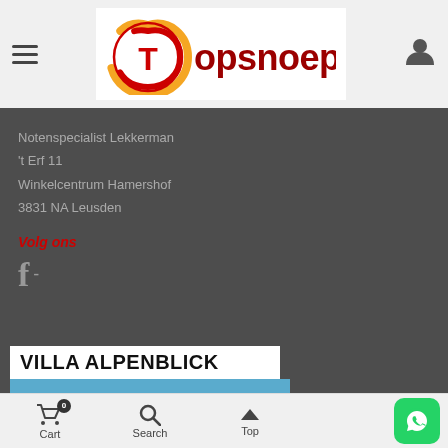[Figure (logo): Topsnoep.nl logo with stylized T and orange/red swirl design]
Notenspecialist Lekkerman
't Erf 11
Winkelcentrum Hamershof
3831 NA Leusden
Volg ons
[Figure (logo): Facebook icon (letter f) with dash]
VILLA ALPENBLICK
Cart  0  Search  Top